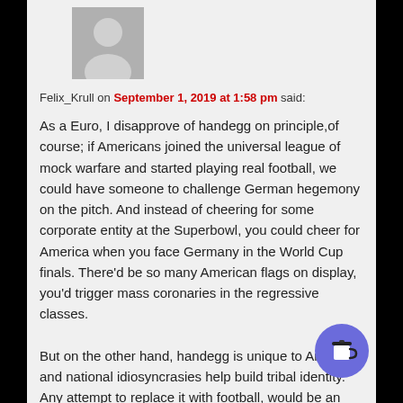[Figure (illustration): Grey placeholder avatar silhouette icon]
Felix_Krull on September 1, 2019 at 1:58 pm said:
As a Euro, I disapprove of handegg on principle,of course; if Americans joined the universal league of mock warfare and started playing real football, we could have someone to challenge German hegemony on the pitch. And instead of cheering for some corporate entity at the Superbowl, you could cheer for America when you face Germany in the World Cup finals. There'd be so many American flags on display, you'd trigger mass coronaries in the regressive classes.

But on the other hand, handegg is unique to America, and national idiosyncrasies help build tribal identity. Any attempt to replace it with football, would be an evil, globohomo conspiracy. Sportsball is living culture, not something in a museum, but something people do regularly and voluntarily because they enjoy it, not just because